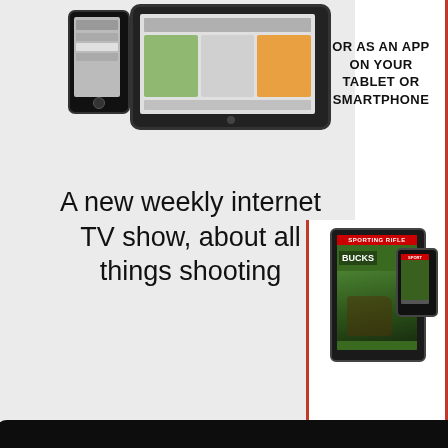[Figure (screenshot): Website screenshot showing left grey panel with tablet and phone devices, text 'A new weekly internet TV show, about all things shooting', and right white panel with red border showing magazine app on tablet/smartphone]
OR AS AN APP ON YOUR TABLET OR SMARTPHONE
A new weekly internet TV show, about all things shooting
We use cookies on this website to deliver content to you, personalise content and ads, provide social media features, and analyse our traffic. Click 'I accept' to consent to the use of cookies. More information on cookies and how to manage them  click here
I Accept